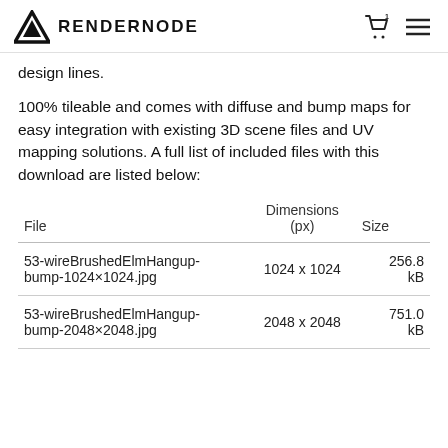RENDERNODE
design lines.
100% tileable and comes with diffuse and bump maps for easy integration with existing 3D scene files and UV mapping solutions. A full list of included files with this download are listed below:
| File | Dimensions (px) | Size |
| --- | --- | --- |
| 53-wireBrushedElmHangup-bump-1024×1024.jpg | 1024 x 1024 | 256.8 kB |
| 53-wireBrushedElmHangup-bump-2048×2048.jpg | 2048 x 2048 | 751.0 kB |